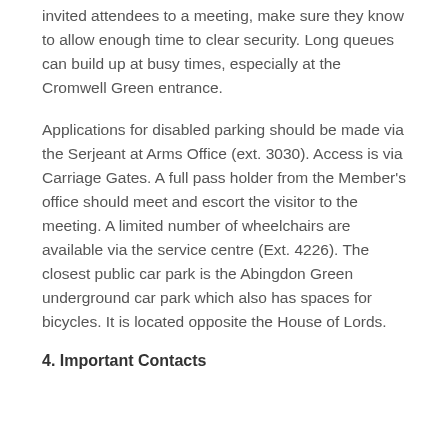invited attendees to a meeting, make sure they know to allow enough time to clear security. Long queues can build up at busy times, especially at the Cromwell Green entrance.
Applications for disabled parking should be made via the Serjeant at Arms Office (ext. 3030). Access is via Carriage Gates. A full pass holder from the Member's office should meet and escort the visitor to the meeting. A limited number of wheelchairs are available via the service centre (Ext. 4226). The closest public car park is the Abingdon Green underground car park which also has spaces for bicycles. It is located opposite the House of Lords.
4.  Important Contacts